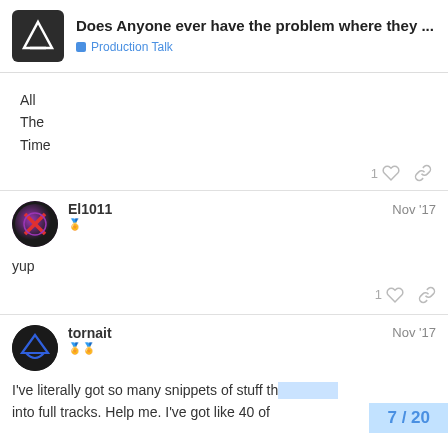Does Anyone ever have the problem where they ... | Production Talk
All
The
Time
El1011 Nov '17
yup
tornait Nov '17
I've literally got so many snippets of stuff th... into full tracks. Help me. I've got like 40 of
7 / 20